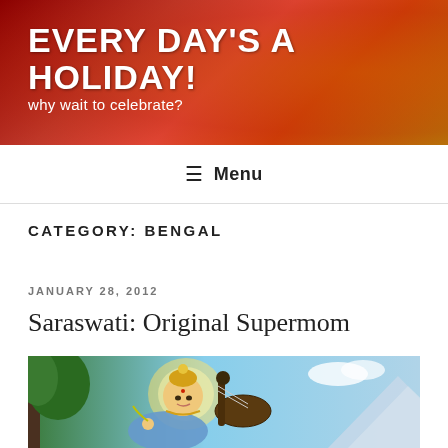EVERY DAY'S A HOLIDAY! why wait to celebrate?
Menu
CATEGORY: BENGAL
JANUARY 28, 2012
Saraswati: Original Supermom
[Figure (illustration): Colorful illustrated image of the Hindu goddess Saraswati, wearing a golden crown and blue garments, playing a veena (stringed instrument), with trees and mountains in the background and a glowing halo around her head.]